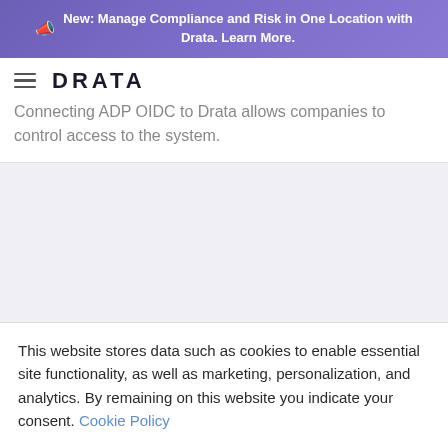New: Manage Compliance and Risk in One Location with Drata. Learn More.
[Figure (logo): Drata logo with hamburger menu icon]
Connecting ADP OIDC to Drata allows companies to control access to the system.
This website stores data such as cookies to enable essential site functionality, as well as marketing, personalization, and analytics. By remaining on this website you indicate your consent. Cookie Policy